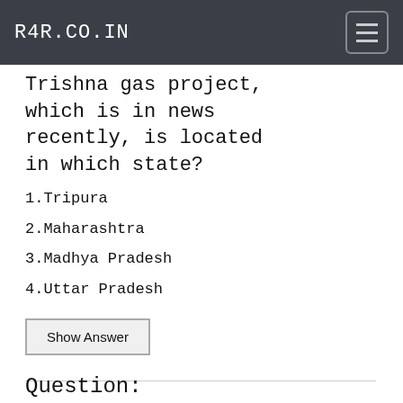R4R.CO.IN
Trishna gas project, which is in news recently, is located in which state?
1.Tripura
2.Maharashtra
3.Madhya Pradesh
4.Uttar Pradesh
Show Answer
Question: